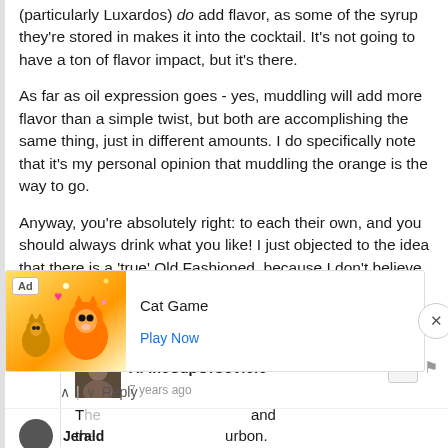(particularly Luxardos) do add flavor, as some of the syrup they're stored in makes it into the cocktail. It's not going to have a ton of flavor impact, but it's there.
As far as oil expression goes - yes, muddling will add more flavor than a simple twist, but both are accomplishing the same thing, just in different amounts. I do specifically note that it's my personal opinion that muddling the orange is the way to go.
Anyway, you're absolutely right: to each their own, and you should always drink what you like! I just objected to the idea that there is a 'true' Old Fashioned, because I don't believe that to be the case.
Reply
AFineCupOfCovfefe → Vito Charles
7 years ago
[Figure (infographic): Ad overlay: Cat Game mobile game advertisement with cartoon cats image, 'Ad' badge, 'Cat Game' title, 'Play Now' link, and close (X) button]
Reply
Jerald